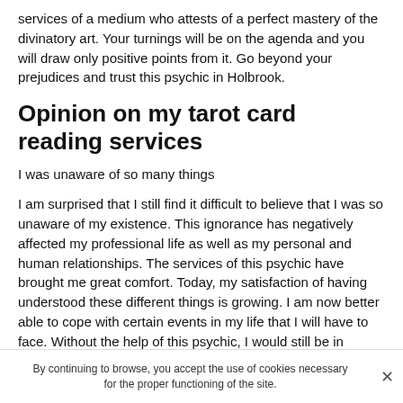services of a medium who attests of a perfect mastery of the divinatory art. Your turnings will be on the agenda and you will draw only positive points from it. Go beyond your prejudices and trust this psychic in Holbrook.
Opinion on my tarot card reading services
I was unaware of so many things
I am surprised that I still find it difficult to believe that I was so unaware of my existence. This ignorance has negatively affected my professional life as well as my personal and human relationships. The services of this psychic have brought me great comfort. Today, my satisfaction of having understood these different things is growing. I am now better able to cope with certain events in my life that I will have to face. Without the help of this psychic, I would still be in denial.
By continuing to browse, you accept the use of cookies necessary for the proper functioning of the site.